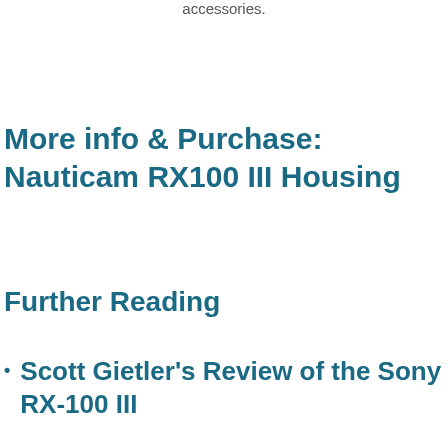accessories.
More info & Purchase: Nauticam RX100 III Housing
Further Reading
Scott Gietler's Review of the Sony RX-100 III